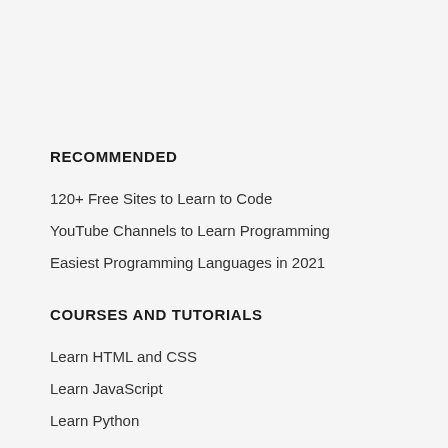RECOMMENDED
120+ Free Sites to Learn to Code
YouTube Channels to Learn Programming
Easiest Programming Languages in 2021
COURSES AND TUTORIALS
Learn HTML and CSS
Learn JavaScript
Learn Python
Learn PHP